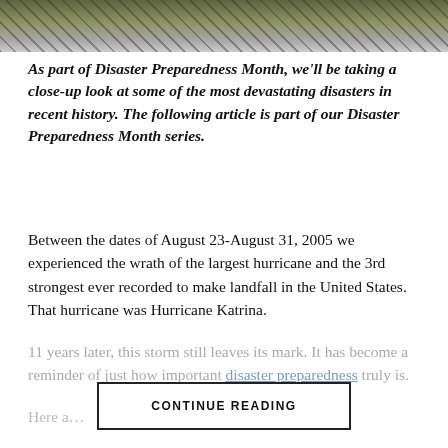[Figure (photo): Partial photo banner at top of page showing disaster scene with debris and vegetation]
As part of Disaster Preparedness Month, we'll be taking a close-up look at some of the most devastating disasters in recent history. The following article is part of our Disaster Preparedness Month series.
Between the dates of August 23-August 31, 2005 we experienced the wrath of the largest hurricane and the 3rd strongest ever recorded to make landfall in the United States. That hurricane was Hurricane Katrina.
11 years later, this storm still leaves its mark. It has become a reminder of just how important disaster preparedness truly is.
Here a…
CONTINUE READING